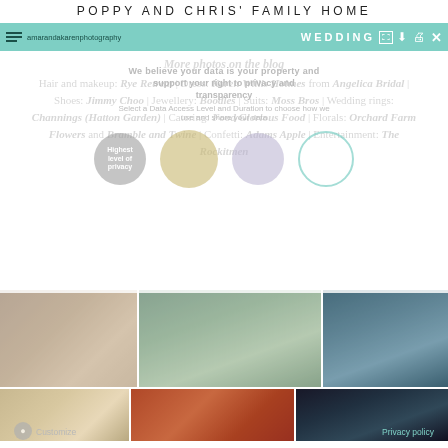POPPY AND CHRIS' FAMILY HOME
WEDDING — navigation bar with URL: amarandakarenphotography...
More photos on the blog
Hair and makeup: Rye Retreat | Dress: Karen Willis Holmes from Angelica Bridal | Shoes: Jimmy Choo | Jewellery: Boodles | Suits: Moss Bros | Wedding rings: Channings (Hatton Garden) | Catering: Food Glorious Food | Florals: Orchard Farm Flowers and Bramble and Twine | Confetti: Adams Apple | Entertainment: The Rockitmen
[Figure (photo): GDPR consent overlay with circles for data privacy options, overlaid on wedding article page]
[Figure (photo): Photo grid: top row — guests seated outdoors (rustic venue), groomsmen walking outside stone church, bride holding bouquet in front of blue door. Bottom row — church arch exterior, orange marquee interior, dark evening venue shot.]
Customize | Privacy policy